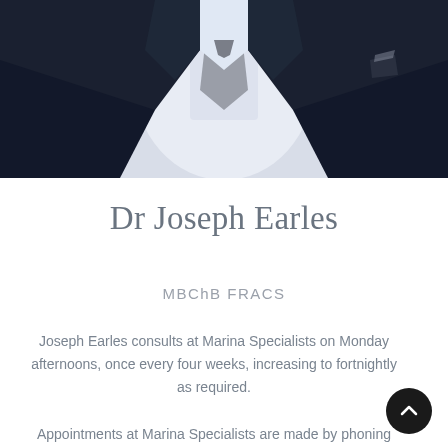[Figure (photo): Professional headshot of Dr Joseph Earles wearing a dark navy suit jacket, white shirt, and grey patterned tie. The photo is cropped from the chest up, with the face/head cut off at the top edge of the image.]
Dr Joseph Earles
MBChB FRACS
Joseph Earles consults at Marina Specialists on Monday afternoons, once every four weeks, increasing to fortnightly as required.
Appointments at Marina Specialists are made by phoning